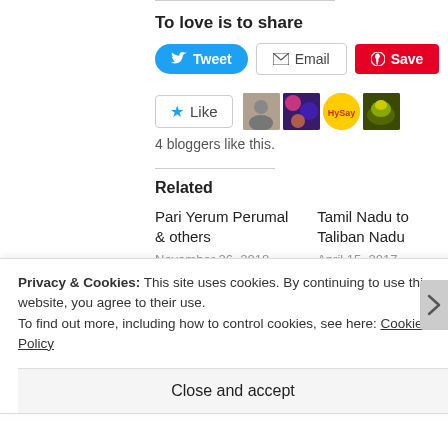To love is to share
[Figure (infographic): Social sharing buttons: Tweet (blue, Twitter bird icon), Email (envelope icon), Save (red, Pinterest icon)]
[Figure (infographic): Like button with star icon and 4 blogger avatar thumbnails]
4 bloggers like this.
Related
Pari Yerum Perumal & others
November 26, 2018
In "English Posts"
Tamil Nadu to Taliban Nadu
April 15, 2017
In "English Posts"
Privacy & Cookies: This site uses cookies. By continuing to use this website, you agree to their use.
To find out more, including how to control cookies, see here: Cookie Policy
Close and accept